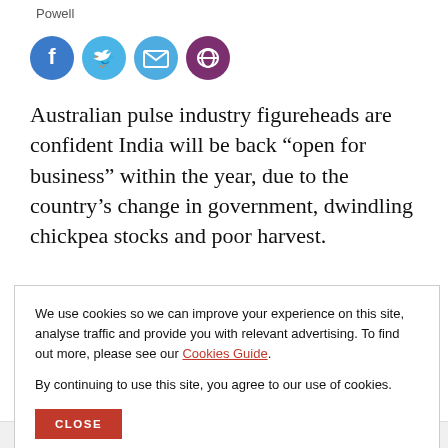Powell
[Figure (infographic): Social sharing icons: Facebook (blue circle), Twitter (light blue circle), Email (medium blue circle), Link (dark purple circle)]
Australian pulse industry figureheads are confident India will be back “open for business” within the year, due to the country’s change in government, dwindling chickpea stocks and poor harvest.
We use cookies so we can improve your experience on this site, analyse traffic and provide you with relevant advertising. To find out more, please see our Cookies Guide.

By continuing to use this site, you agree to our use of cookies.